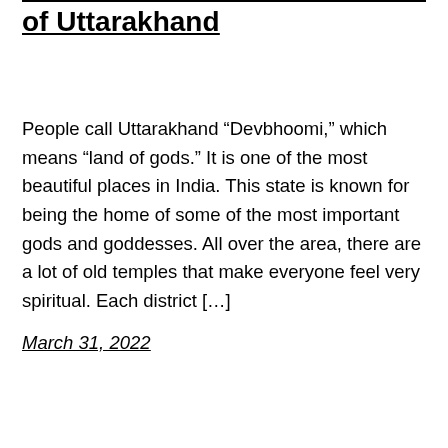of Uttarakhand
People call Uttarakhand “Devbhoomi,” which means “land of gods.” It is one of the most beautiful places in India. This state is known for being the home of some of the most important gods and goddesses. All over the area, there are a lot of old temples that make everyone feel very spiritual. Each district […]
March 31, 2022